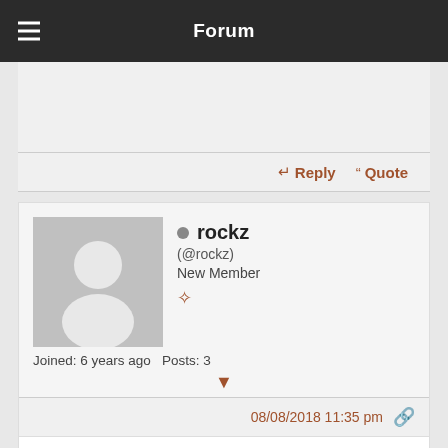Forum
Reply   Quote
rockz
(@rockz)
New Member
Joined: 6 years ago   Posts: 3
08/08/2018 11:35 pm
When taking 100mg of clomid should u take them together or spread them out?